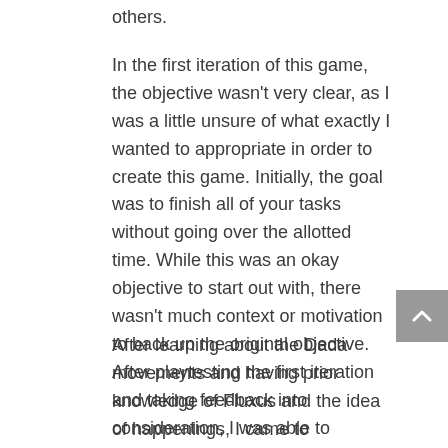others.
In the first iteration of this game, the objective wasn’t very clear, as I was a little unsure of what exactly I wanted to appropriate in order to create this game. Initially, the goal was to finish all of your tasks without going over the allotted time. While this was an okay objective to start out with, there wasn’t much context or motivation to back up the original objective. After playtesting the first iteration and taking feedback into consideration, I was able to recreate a better idea.
After learning about the Dada movements and having prior knowledge of Fluxus and the idea of happenings, I came to appreciate the idea of an object being used in a new way while still being able